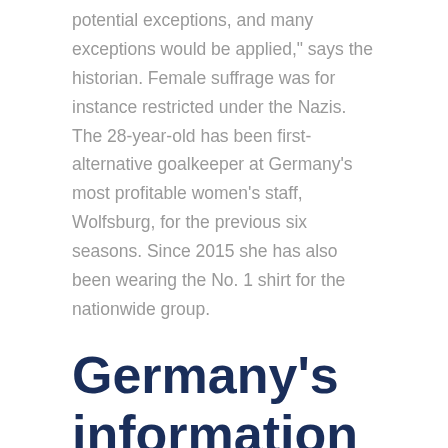potential exceptions, and many exceptions would be applied," says the historian. Female suffrage was for instance restricted under the Nazis. The 28-year-old has been first-alternative goalkeeper at Germany's most profitable women's staff, Wolfsburg, for the previous six seasons. Since 2015 she has also been wearing the No. 1 shirt for the nationwide group.
Germany's information in English
Since unification German girls have made some progress in gaining positions of energy, most notably Angela Merkel who was elected as Chancellor of Germany in 2005. After unification women, especially from Eastern Germany, suffered essentially the most. As a result of the political, social and